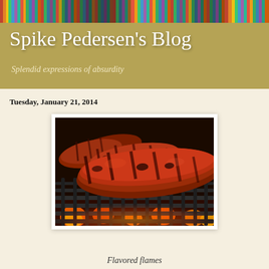Spike Pedersen's Blog
Splendid expressions of absurdity
Tuesday, January 21, 2014
[Figure (photo): Grilled sausages cooking on a BBQ grill with open flames visible through the grates, close-up photo showing charred, caramelized meat with orange flame glow]
Flavored flames